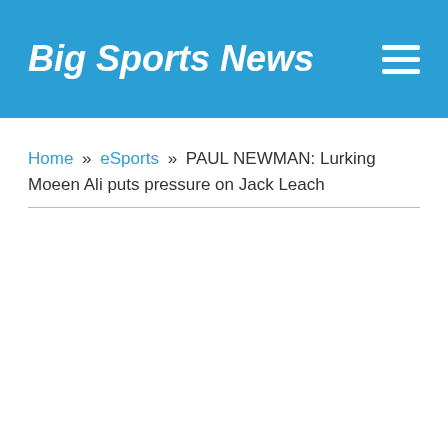Big Sports News
Home » eSports » PAUL NEWMAN: Lurking Moeen Ali puts pressure on Jack Leach